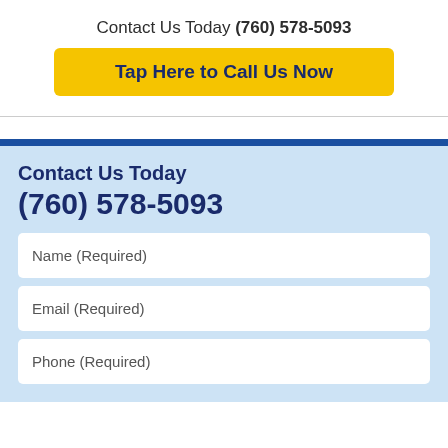Contact Us Today (760) 578-5093
Tap Here to Call Us Now
Contact Us Today
(760) 578-5093
Name (Required)
Email (Required)
Phone (Required)